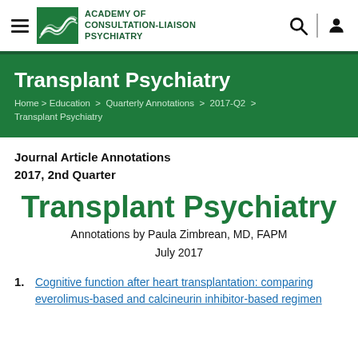Academy of Consultation-Liaison Psychiatry
Transplant Psychiatry
Home > Education > Quarterly Annotations > 2017-Q2 > Transplant Psychiatry
Journal Article Annotations
2017, 2nd Quarter
Transplant Psychiatry
Annotations by Paula Zimbrean, MD, FAPM
July 2017
1. Cognitive function after heart transplantation: comparing everolimus-based and calcineurin inhibitor-based regimens